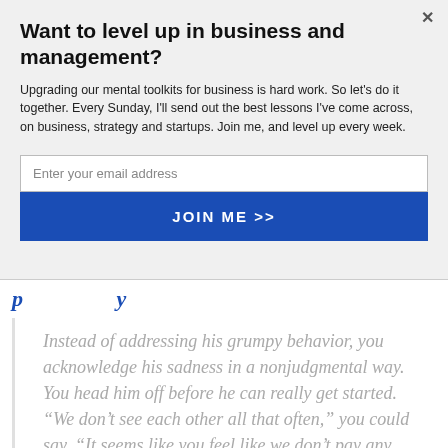Want to level up in business and management?
Upgrading our mental toolkits for business is hard work. So let's do it together. Every Sunday, I'll send out the best lessons I've come across, on business, strategy and startups. Join me, and level up every week.
Enter your email address
JOIN ME >>
Instead of addressing his grumpy behavior, you acknowledge his sadness in a nonjudgmental way. You head him off before he can really get started. “We don’t see each other all that often,” you could say. “It seems like you feel like we don’t pay any attention to you and you only see us once a